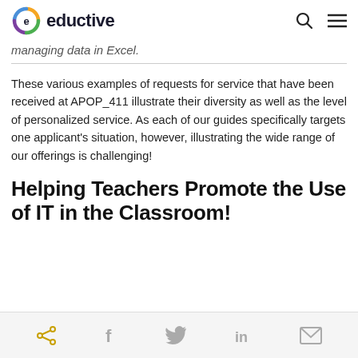eductive
managing data in Excel.
These various examples of requests for service that have been received at APOP_411 illustrate their diversity as well as the level of personalized service. As each of our guides specifically targets one applicant's situation, however, illustrating the wide range of our offerings is challenging!
Helping Teachers Promote the Use of IT in the Classroom!
share icons: share, facebook, twitter, linkedin, email